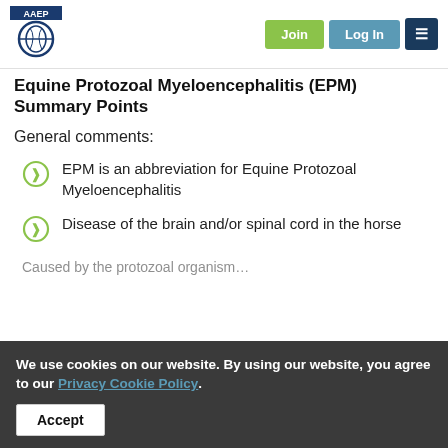AAEP logo | Join | Log In | Menu
Equine Protozoal Myeloencephalitis (EPM) Summary Points
General comments:
EPM is an abbreviation for Equine Protozoal Myeloencephalitis
Disease of the brain and/or spinal cord in the horse
We use cookies on our website. By using our website, you agree to our Privacy Cookie Policy.
Accept